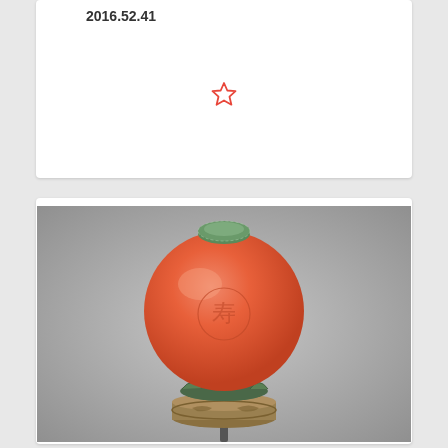2016.52.41
[Figure (photo): A coral-colored spherical bead or finial with an engraved circular medallion (longevity symbol), mounted on a tiered metal base featuring a green patinated lotus petal cup and a gilded bronze base with bird and floral decorations, set against a gray background.]